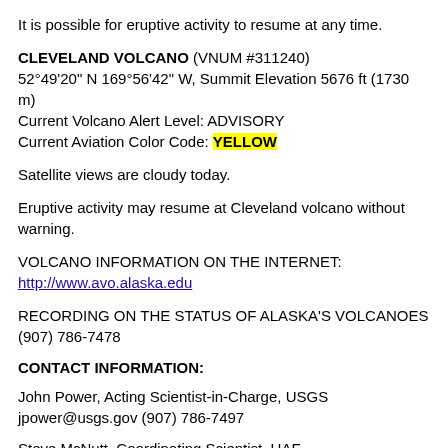It is possible for eruptive activity to resume at any time.
CLEVELAND VOLCANO (VNUM #311240)
52°49'20" N 169°56'42" W, Summit Elevation 5676 ft (1730 m)
Current Volcano Alert Level: ADVISORY
Current Aviation Color Code: YELLOW
Satellite views are cloudy today.
Eruptive activity may resume at Cleveland volcano without warning.
VOLCANO INFORMATION ON THE INTERNET:
http://www.avo.alaska.edu
RECORDING ON THE STATUS OF ALASKA'S VOLCANOES (907) 786-7478
CONTACT INFORMATION:
John Power, Acting Scientist-in-Charge, USGS
jpower@usgs.gov (907) 786-7497
Steve McNutt, Coordinating Scientist, UAF...